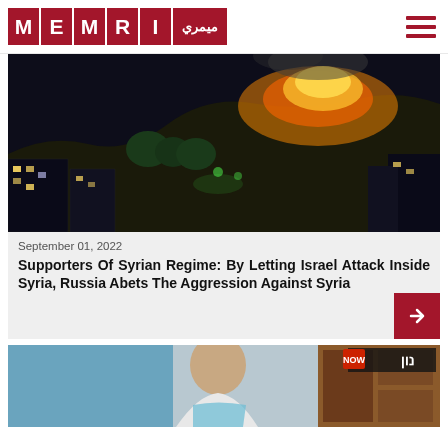MEMRI (logo)
[Figure (photo): Night photograph showing buildings in the foreground with a large fire and orange glow on a hillside in the background, likely in Syria]
September 01, 2022
Supporters Of Syrian Regime: By Letting Israel Attack Inside Syria, Russia Abets The Aggression Against Syria
[Figure (photo): Partial screenshot of a second article showing a bald man, appears to be a TV broadcast still with a channel logo in the top right corner]